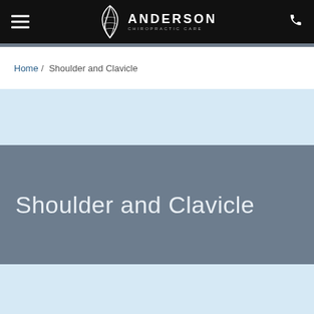Anderson Chiropractic Care
Home / Shoulder and Clavicle
Shoulder and Clavicle